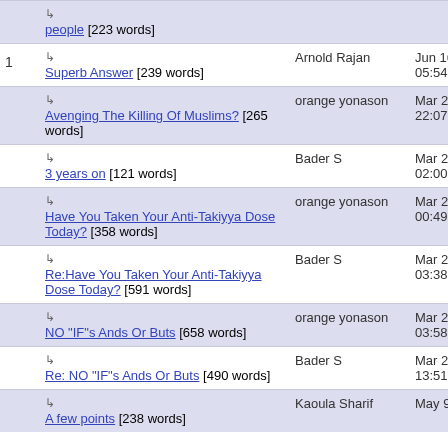| # | Title | Author | Date |
| --- | --- | --- | --- |
|  | ↳ people [223 words] |  |  |
| 1 | ↳ Superb Answer [239 words] | Arnold Rajan | Jun 16, 2009 05:54 |
|  | ↳ Avenging The Killing Of Muslims? [265 words] | orange yonason | Mar 20, 2006 22:07 |
|  | ↳ 3 years on [121 words] | Bader S | Mar 21, 2006 02:00 |
|  | ↳ Have You Taken Your Anti-Takiyya Dose Today? [358 words] | orange yonason | Mar 23, 2006 00:49 |
|  | ↳ Re:Have You Taken Your Anti-Takiyya Dose Today? [591 words] | Bader S | Mar 25, 2006 03:38 |
|  | ↳ NO "IF"s Ands Or Buts [658 words] | orange yonason | Mar 26, 2006 03:58 |
|  | ↳ Re: NO "IF"s Ands Or Buts [490 words] | Bader S | Mar 27, 2006 13:51 |
|  | ↳ A few points [238 words] | Kaoula Sharif | May 9, 2006 |